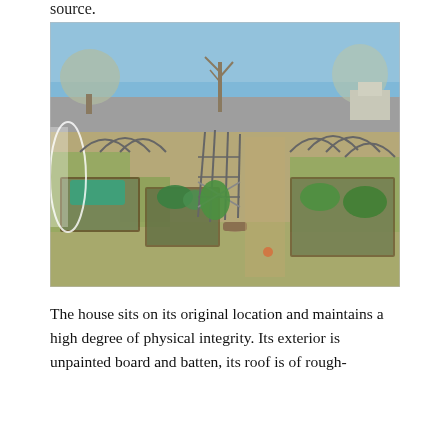source.
[Figure (photo): Outdoor community or backyard garden with multiple raised vegetable beds arranged in rows, metal hoop supports arching over several beds, green plantings visible, grass pathways between beds, trees and a fence in the background under a blue sky.]
The house sits on its original location and maintains a high degree of physical integrity. Its exterior is unpainted board and batten, its roof is of rough-